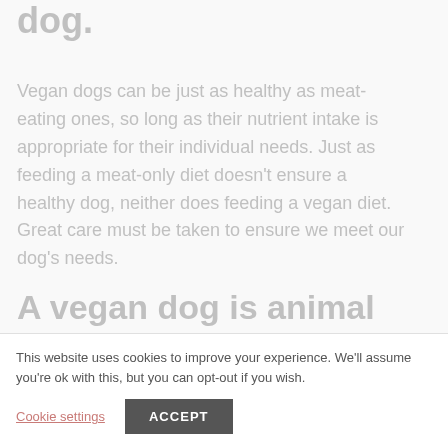dog.
Vegan dogs can be just as healthy as meat-eating ones, so long as their nutrient intake is appropriate for their individual needs. Just as feeding a meat-only diet doesn't ensure a healthy dog, neither does feeding a vegan diet. Great care must be taken to ensure we meet our dog's needs.
A vegan dog is animal
This website uses cookies to improve your experience. We'll assume you're ok with this, but you can opt-out if you wish.
Cookie settings   ACCEPT